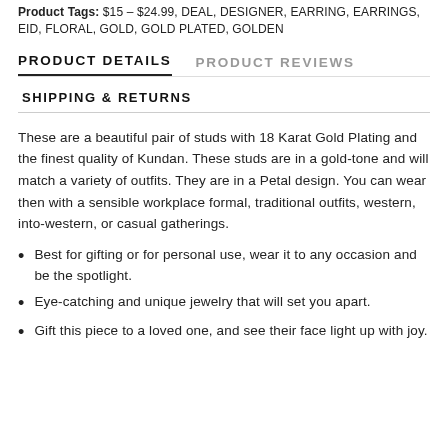Product Tags: $15 – $24.99, DEAL, DESIGNER, EARRING, EARRINGS, EID, FLORAL, GOLD, GOLD PLATED, GOLDEN
PRODUCT DETAILS
PRODUCT REVIEWS
SHIPPING & RETURNS
These are a beautiful pair of studs with 18 Karat Gold Plating and the finest quality of Kundan. These studs are in a gold-tone and will match a variety of outfits. They are in a Petal design. You can wear then with a sensible workplace formal, traditional outfits, western, into-western, or casual gatherings.
Best for gifting or for personal use, wear it to any occasion and be the spotlight.
Eye-catching and unique jewelry that will set you apart.
Gift this piece to a loved one, and see their face light up with joy.